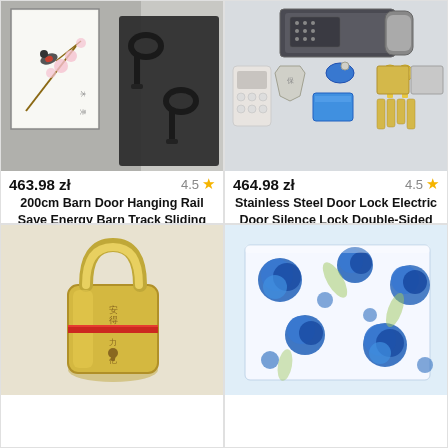[Figure (photo): Product image for Barn Door Hanging Rail showing a sliding barn door with hanging rail hardware components]
463.98 zł
4.5 ★
200cm Barn Door Hanging Rail Save Energy Barn Track Sliding Door T-shaped Track Kit Barn Door
Description: Barn door hanging rail Specifications: 1. The barn door not only needs better applicability, but also better decoration; 2. The barn door is pushed and pulled against the wall, which saves
[Figure (photo): Product image for Stainless Steel Door Lock Electric showing lock components, remote controller, RFID cards, keys and mounting hardware]
464.98 zł
4.5 ★
Stainless Steel Door Lock Electric Door Silence Lock Double-Sided ID Card with Remote Controller
Stainless Steel Electric Door Silence Lock Double-Sided ID Card with Remote Controller Feature: 1. Access control card can be used to unlock the door, supports for EM or for SM
[Figure (photo): Product image showing a cylindrical padlock with red marking]
[Figure (photo): Product image showing blue and white floral patterned blanket or fabric]